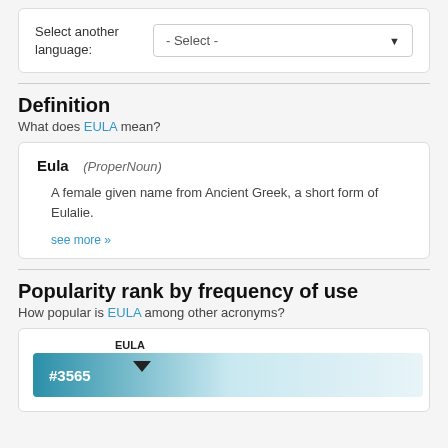Select another language:
- Select -
Definition
What does EULA mean?
Eula (ProperNoun)
A female given name from Ancient Greek, a short form of Eulalie.
see more »
Popularity rank by frequency of use
How popular is EULA among other acronyms?
[Figure (infographic): Horizontal gradient bar showing EULA ranked #3565, with a downward arrow pointing at the left portion of the bar labeled EULA]